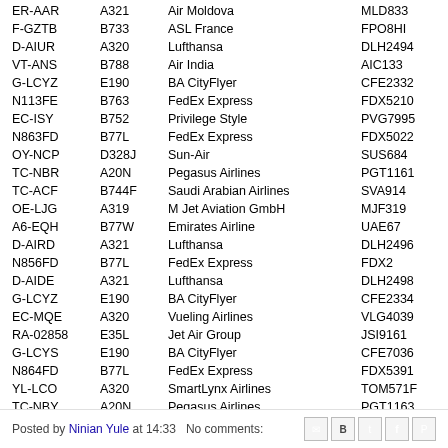| Registration | Type | Airline | Flight |
| --- | --- | --- | --- |
| ER-AAR | A321 | Air Moldova | MLD833 |
| F-GZTB | B733 | ASL France | FPO8HI |
| D-AIUR | A320 | Lufthansa | DLH2494 |
| VT-ANS | B788 | Air India | AIC133 |
| G-LCYZ | E190 | BA CityFlyer | CFE2332 |
| N113FE | B763 | FedEx Express | FDX5210 |
| EC-ISY | B752 | Privilege Style | PVG7995 |
| N863FD | B77L | FedEx Express | FDX5022 |
| OY-NCP | D328J | Sun-Air | SUS684 |
| TC-NBR | A20N | Pegasus Airlines | PGT1161 |
| TC-ACF | B744F | Saudi Arabian Airlines | SVA914 |
| OE-LJG | A319 | M Jet Aviation GmbH | MJF319 |
| A6-EQH | B77W | Emirates Airline | UAE67 |
| D-AIRD | A321 | Lufthansa | DLH2496 |
| N856FD | B77L | FedEx Express | FDX2 |
| D-AIDE | A321 | Lufthansa | DLH2498 |
| G-LCYZ | E190 | BA CityFlyer | CFE2334 |
| EC-MQE | A320 | Vueling Airlines | VLG4039 |
| RA-02858 | E35L | Jet Air Group | JSI9161 |
| G-LCYS | E190 | BA CityFlyer | CFE7036 |
| N864FD | B77L | FedEx Express | FDX5391 |
| YL-LCO | A320 | SmartLynx Airlines | TOM571F |
| TC-NBY | A20N | Pegasus Airlines | PGT1163 |
Posted by Ninian Yule at 14:33   No comments: